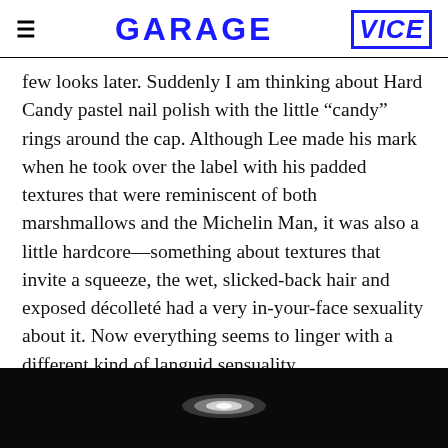GARAGE | VICE
few looks later. Suddenly I am thinking about Hard Candy pastel nail polish with the little “candy” rings around the cap. Although Lee made his mark when he took over the label with his padded textures that were reminiscent of both marshmallows and the Michelin Man, it was also a little hardcore—something about textures that invite a squeeze, the wet, slicked-back hair and exposed décolleté had a very in-your-face sexuality about it. Now everything seems to linger with a different kind of languid sensuality.
[Figure (photo): Dark background with a soft glowing white oval light shape, suggesting a fashion or artistic photograph.]